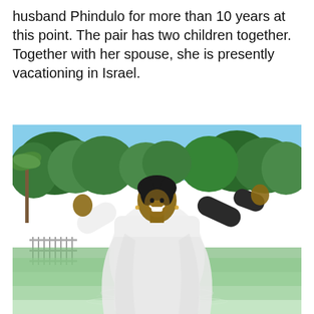husband Phindulo for more than 10 years at this point. The pair has two children together. Together with her spouse, she is presently vacationing in Israel.
[Figure (photo): A woman wearing a white baptism robe standing in a river or outdoor body of water with arms raised joyfully, smiling, surrounded by green trees in the background. The setting appears to be a baptism site in Israel.]